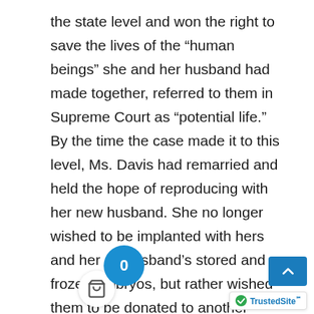the state level and won the right to save the lives of the “human beings” she and her husband had made together, referred to them in Supreme Court as “potential life.” By the time the case made it to this level, Ms. Davis had remarried and held the hope of reproducing with her new husband. She no longer wished to be implanted with hers and her ex-husband’s stored and frozen embryos, but rather wished them to be donated to another couple.(29) Her new and weaker position towards that which were once regarded by her as “children” may have affected the judge’s eventual decision.

I [contention] of some well-meaning individuals that the best way to protect the rights of frozen embryos is to allow parents to determine their